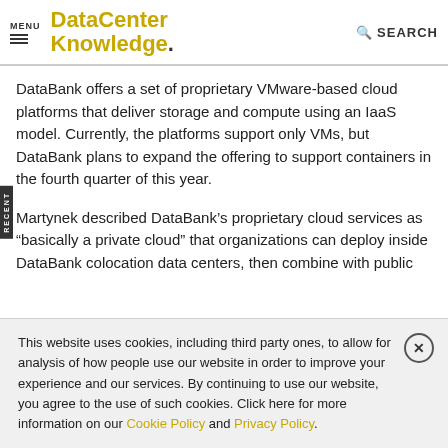MENU | DataCenter Knowledge. | SEARCH
DataBank offers a set of proprietary VMware-based cloud platforms that deliver storage and compute using an IaaS model. Currently, the platforms support only VMs, but DataBank plans to expand the offering to support containers in the fourth quarter of this year.
Martynek described DataBank’s proprietary cloud services as “basically a private cloud” that organizations can deploy inside DataBank colocation data centers, then combine with public
This website uses cookies, including third party ones, to allow for analysis of how people use our website in order to improve your experience and our services. By continuing to use our website, you agree to the use of such cookies. Click here for more information on our Cookie Policy and Privacy Policy.